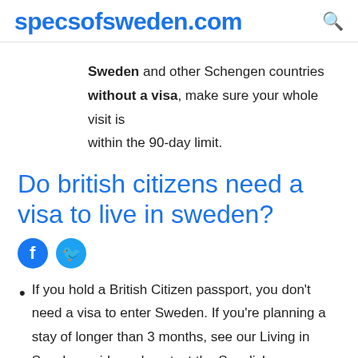specsofsweden.com
Sweden and other Schengen countries without a visa, make sure your whole visit is within the 90-day limit.
Do british citizens need a visa to live in sweden?
[Figure (infographic): Facebook and Twitter social sharing icons]
If you hold a British Citizen passport, you don't need a visa to enter Sweden. If you're planning a stay of longer than 3 months, see our Living in Sweden guide and contact the Swedish